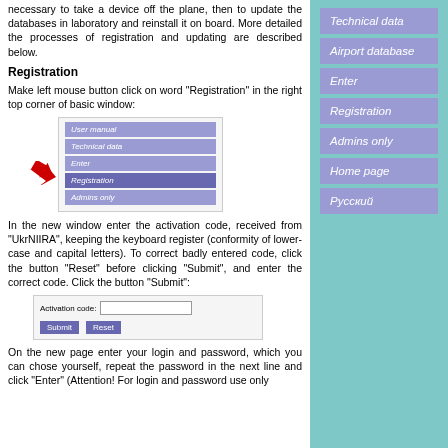necessary to take a device off the plane, then to update the databases in laboratory and reinstall it on board. More detailed the processes of registration and updating are described below.
Registration
Make left mouse button click on word "Registration" in the right top corner of basic window:
[Figure (screenshot): Screenshot of a navigation menu showing items: User manual, Technical data, Enter, Registration (highlighted), Admins only. A red arrow points to Registration.]
In the new window enter the activation code, received from "UkrNIIRA", keeping the keyboard register (conformity of lower-case and capital letters). To correct badly entered code, click the button "Reset" before clicking "Submit", and enter the correct code. Click the button "Submit":
[Figure (screenshot): Screenshot showing an activation code input form with a text field, Submit button, and Reset button.]
On the new page enter your login and password, which you can chose yourself, repeat the password in the next line and click "Enter" (Attention! For login and password use only
Technical data
Airport database
Enter
Registration
Admins only
Home page
Русский